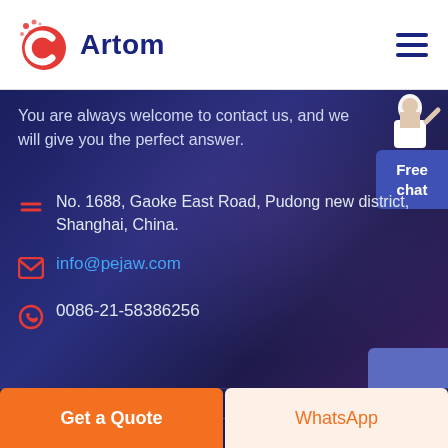[Figure (logo): Artom company logo with red circular C icon and dark blue Artom text]
You are always welcome to contact us, and we will give you the perfect answer.
No. 1688, Gaoke East Road, Pudong new district, Shanghai, China.
info@pejaw.com
0086-21-58386256
Solutions
Get a Quote
WhatsApp